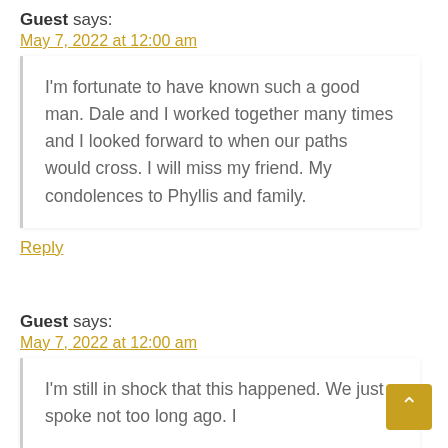Guest says:
May 7, 2022 at 12:00 am
I'm fortunate to have known such a good man. Dale and I worked together many times and I looked forward to when our paths would cross. I will miss my friend. My condolences to Phyllis and family.
Reply
Guest says:
May 7, 2022 at 12:00 am
I'm still in shock that this happened. We just spoke not too long ago. I